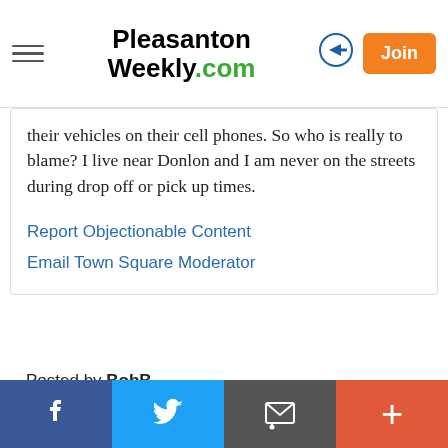Pleasanton Weekly.com — navigation bar with hamburger menu, logo, login arrow, and Join button
their vehicles on their cell phones. So who is really to blame? I live near Donlon and I am never on the streets during drop off or pick up times.
Report Objectionable Content
Email Town Square Moderator
Posted by BobB
a resident of Another Pleasanton neighborhood
on May 7, 2019 at 8:24 pm
BobB is a registered user.
@James Michael,
Social share bar: Facebook, Twitter, Email, Plus